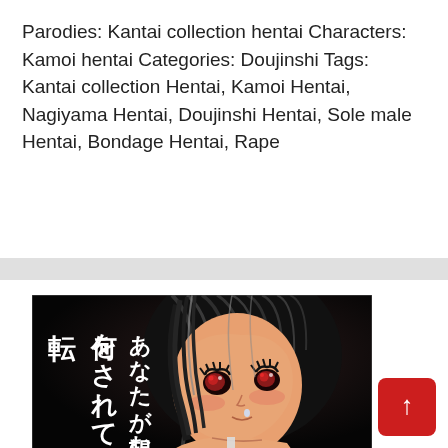Parodies: Kantai collection hentai Characters: Kamoi hentai Categories: Doujinshi Tags: Kantai collection Hentai, Kamoi Hentai, Nagiyama Hentai, Doujinshi Hentai, Sole male Hentai, Bondage Hentai, Rape
Read More
[Figure (illustration): Manga/anime style illustration of a dark-haired female character with Japanese text overlaid on the left side reading characters in vertical columns. Dark background with character shown from shoulders up.]